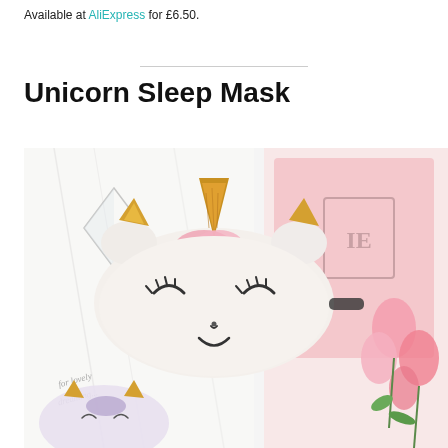Available at AliExpress for £6.50.
Unicorn Sleep Mask
[Figure (photo): A white unicorn-shaped sleep mask with gold horns and ears, pink hair accent, embroidered closed eyes and smile, lying on a white surface next to pink tulips and a pink notebook. A second smaller unicorn mask is visible in the bottom corner.]